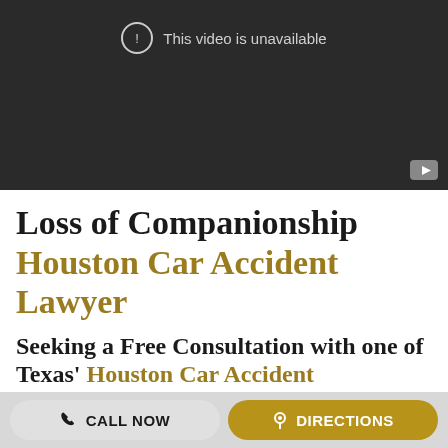[Figure (screenshot): YouTube-style video player showing 'This video is unavailable' message on a dark background with a YouTube logo badge in the bottom-right corner.]
Loss of Companionship Houston Car Accident Lawyer
Seeking a Free Consultation with one of Texas' Houston Car Accident
CALL NOW   DIRECTIONS